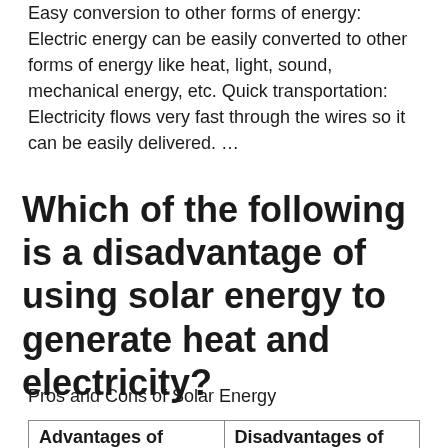Easy conversion to other forms of energy: Electric energy can be easily converted to other forms of energy like heat, light, sound, mechanical energy, etc. Quick transportation: Electricity flows very fast through the wires so it can be easily delivered. ...
Which of the following is a disadvantage of using solar energy to generate heat and electricity?
Pros and Cons of Solar Energy
| Advantages of | Disadvantages of |
| --- | --- |